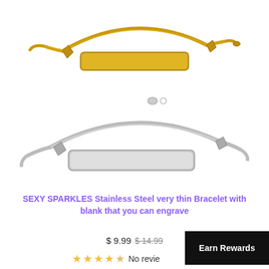[Figure (photo): Two ID bracelets — one gold-tone curb chain bracelet with a blank engravable bar on top, and one silver-tone figaro/curb chain bracelet with a blank engravable bar on the bottom.]
SEXY SPARKLES Stainless Steel very thin Bracelet with blank that you can engrave
$ 9.99  $ 14.99
Earn Rewards
No revie